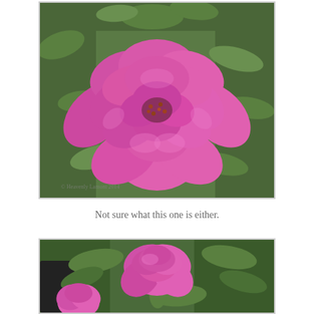[Figure (photo): Close-up photo of a large, fully bloomed pink/magenta rose flower with multiple layered petals and a dark reddish center, surrounded by green leaves in the background. A watermark/copyright text is visible in the lower left corner.]
Not sure what this one is either.
[Figure (photo): Photo of a pink rose partially open, with green leaves and bud visible, and another pink flower/bud in the lower left, set against a green leafy background.]